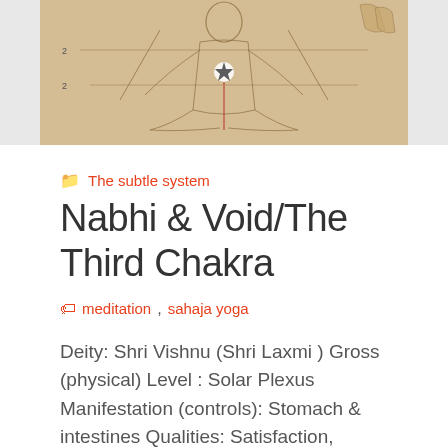[Figure (illustration): Sepia-toned sketch/diagram of a human figure in meditation posture with chakra points marked, with geometric lines overlaid. Background is sandy/tan colored.]
The subtle system
Nabhi & Void/The Third Chakra
meditation,  sahaja yoga
Deity: Shri Vishnu (Shri Laxmi ) Gross (physical) Level : Solar Plexus Manifestation (controls): Stomach & intestines Qualities: Satisfaction, Contentment, Peacefulness and Generosity. Dharma (right conduct) and Evolution No. of Petals: Ten (10) Associated Day Thursday Associated Associated Planet: Jupiter Associated Bia...ater Associated Gem:
Privacy Preferences
I Agree